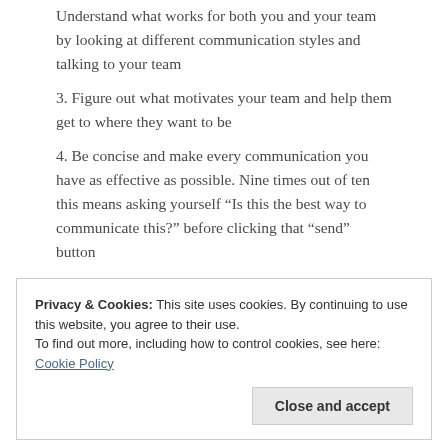Understand what works for both you and your team by looking at different communication styles and talking to your team
3. Figure out what motivates your team and help them get to where they want to be
4. Be concise and make every communication you have as effective as possible. Nine times out of ten this means asking yourself “Is this the best way to communicate this?” before clicking that “send” button
5. Make the success of your business about the success of your team
Privacy & Cookies: This site uses cookies. By continuing to use this website, you agree to their use.
To find out more, including how to control cookies, see here: Cookie Policy